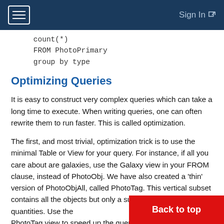≡  Sign In
count(*)
    FROM PhotoPrimary
    group by type
Optimizing Queries
It is easy to construct very complex queries which can take a long time to execute. When writing queries, one can often rewrite them to run faster. This is called optimization.
The first, and most trivial, optimization trick is to use the minimal Table or View for your query. For instance, if all you care about are galaxies, use the Galaxy view in your FROM clause, instead of PhotoObj. We have also created a 'thin' version of PhotoObjAll, called PhotoTag. This vertical subset contains all the objects but only a subset of the measured quantities. Use the PhotoTag view to speed up the query only makes sense if